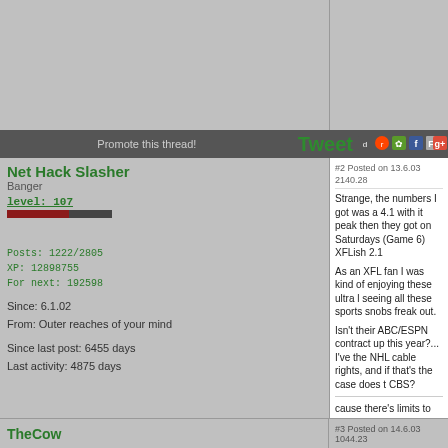Promote this thread!
Tweet [social share icons]
Net Hack Slasher
Banger
Level: 107
Posts: 1222/2805
XP: 12898755
For next: 192598
Since: 6.1.02
From: Outer reaches of your mind
Since last post: 6455 days
Last activity: 4875 days
#2 Posted on 13.6.03 2140.28

Strange, the numbers I got was a 4.1 with it peak then they got on Saturdays (Game 6) XFLish 2.1

As an XFL fan I was kind of enjoying these ultra l seeing all these sports snobs freak out.

Isn't their ABC/ESPN contract up this year?... I've the NHL cable rights, and if that's the case does t CBS?

cause there's limits to our liberties.
'Least I hope and pray that there are,
cause those liberal freaks go too far.

I'll crush all opposition to me
And I'll make Ted Kennedy pay
If he fights back, I'll say that he's gay
TheCow
#3 Posted on 14.6.03 1044.23